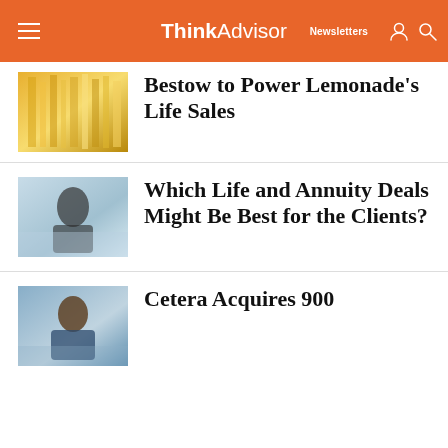ThinkAdvisor
Bestow to Power Lemonade's Life Sales
Which Life and Annuity Deals Might Be Best for the Clients?
Cetera Acquires 900